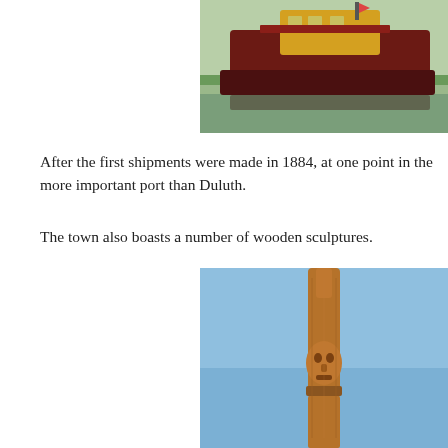[Figure (photo): A tugboat or barge docked at a waterway, with a red/maroon hull and yellow cabin structure, grass and fence visible in foreground, taken from water level.]
After the first shipments were made in 1884, at one point in the more important port than Duluth.
The town also boasts a number of wooden sculptures.
[Figure (photo): A tall wooden carved totem pole or sculpture against a blue sky, showing a human figure carved in brown wood, photographed from below looking up.]